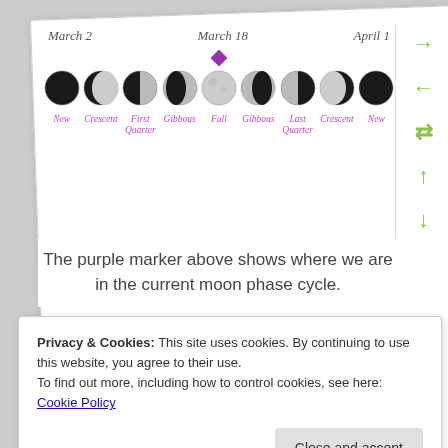[Figure (infographic): Moon phase cycle diagram showing 9 moon phase images (New, Crescent, First Quarter, Gibbous, Full, Gibbous, Last Quarter, Crescent, New) with date labels March 2, March 18, April 1 and a purple diamond marker above March 18 (Full Moon).]
The purple marker above shows where we are in the current moon phase cycle.
Privacy & Cookies: This site uses cookies. By continuing to use this website, you agree to their use.
To find out more, including how to control cookies, see here: Cookie Policy
Close and accept